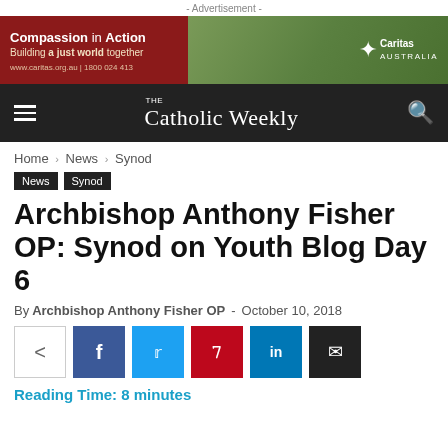- Advertisement -
[Figure (illustration): Caritas Australia advertisement banner: dark red left side with 'Compassion in Action / Building a just world together / www.caritas.org.au | 1800 024 413', and green/photo right side with Caritas Australia logo]
The Catholic Weekly — navigation bar with hamburger menu and search icon
Home › News › Synod
News  Synod
Archbishop Anthony Fisher OP: Synod on Youth Blog Day 6
By Archbishop Anthony Fisher OP - October 10, 2018
[Figure (infographic): Social share buttons: native share, Facebook, Twitter, Pinterest, LinkedIn, Email]
Reading Time: 8 minutes